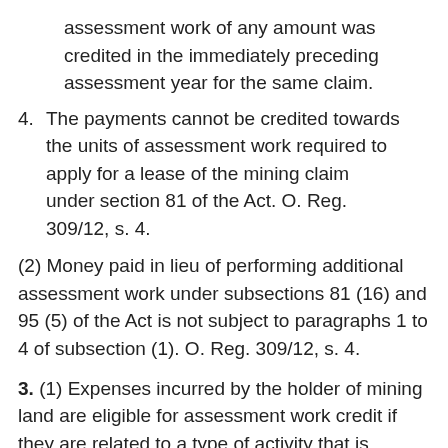assessment work of any amount was credited in the immediately preceding assessment year for the same claim.
4. The payments cannot be credited towards the units of assessment work required to apply for a lease of the mining claim under section 81 of the Act. O. Reg. 309/12, s. 4.
(2) Money paid in lieu of performing additional assessment work under subsections 81 (16) and 95 (5) of the Act is not subject to paragraphs 1 to 4 of subsection (1). O. Reg. 309/12, s. 4.
3. (1) Expenses incurred by the holder of mining land are eligible for assessment work credit if they are related to a type of activity that is eligible for